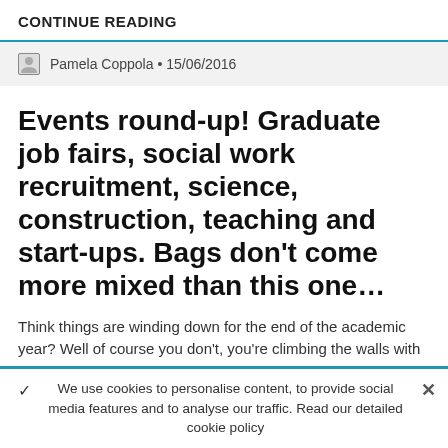CONTINUE READING
Pamela Coppola • 15/06/2016
Events round-up! Graduate job fairs, social work recruitment, science, construction, teaching and start-ups. Bags don't come more mixed than this one...
Think things are winding down for the end of the academic year? Well of course you don't, you're climbing the walls with exams, revision and sundry deadlines BUT things are still happening on Planet Careers too. For instance… Friday 13 May. Making it
We use cookies to personalise content, to provide social media features and to analyse our traffic. Read our detailed cookie policy